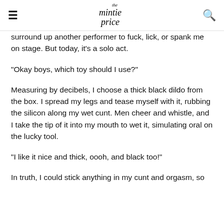the mintie price
surround up another performer to fuck, lick, or spank me on stage. But today, it's a solo act.
“Okay boys, which toy should I use?”
Measuring by decibels, I choose a thick black dildo from the box. I spread my legs and tease myself with it, rubbing the silicon along my wet cunt. Men cheer and whistle, and I take the tip of it into my mouth to wet it, simulating oral on the lucky tool.
“I like it nice and thick, oooh, and black too!”
In truth, I could stick anything in my cunt and orgasm, so